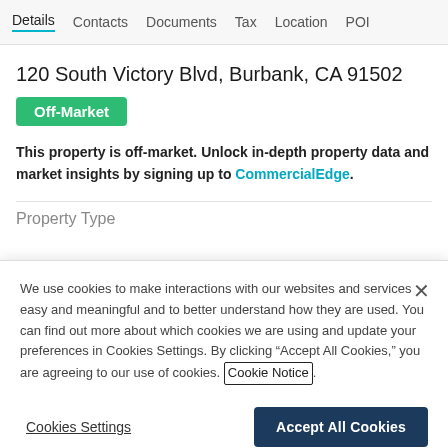Details  Contacts  Documents  Tax  Location  POI
120 South Victory Blvd, Burbank, CA 91502
Off-Market
This property is off-market. Unlock in-depth property data and market insights by signing up to CommercialEdge.
Property Type
We use cookies to make interactions with our websites and services easy and meaningful and to better understand how they are used. You can find out more about which cookies we are using and update your preferences in Cookies Settings. By clicking "Accept All Cookies," you are agreeing to our use of cookies. Cookie Notice.
Cookies Settings
Accept All Cookies